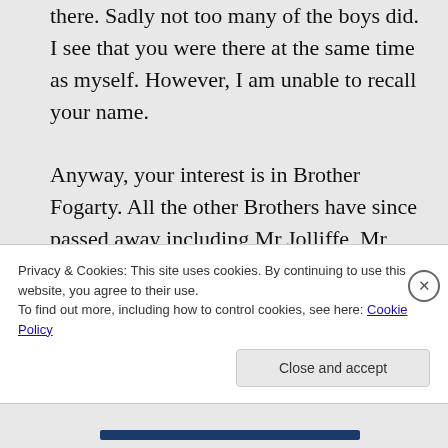there. Sadly not too many of the boys did. I see that you were there at the same time as myself. However, I am unable to recall your name. Anyway, your interest is in Brother Fogarty. All the other Brothers have since passed away including Mr Jolliffe, Mr Doonan and the matron. The only two whom I belive to be still alive are Brother Fogarty (as of
Privacy & Cookies: This site uses cookies. By continuing to use this website, you agree to their use. To find out more, including how to control cookies, see here: Cookie Policy